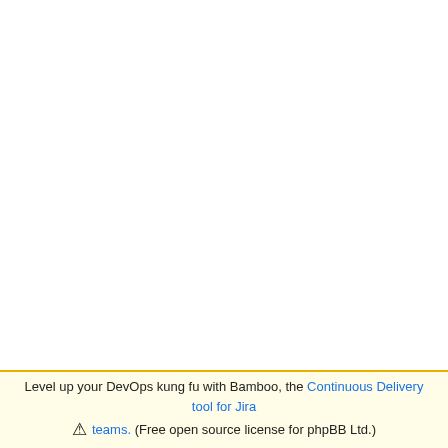[Figure (screenshot): Screenshot of a Bamboo CI/CD log output panel showing repeated 'bambo' log lines in a blue-tinted panel on the right side of the interface, with two vertical divider lines separating columns.]
04-Oct-2019 10:59:11   Cannot c
                        writable
04-Oct-2019 10:59:11   Cannot c
Level up your DevOps kung fu with Bamboo, the Continuous Delivery tool for Jira teams. (Free open source license for phpBB Ltd.)